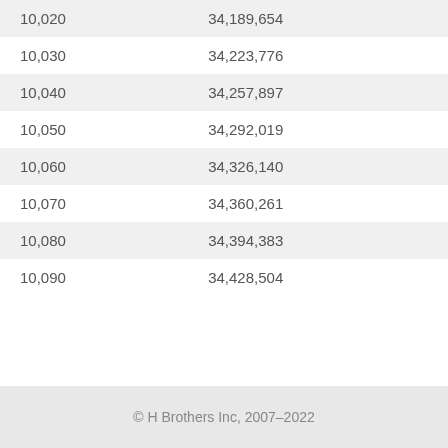| 10,020 | 34,189,654 |
| 10,030 | 34,223,776 |
| 10,040 | 34,257,897 |
| 10,050 | 34,292,019 |
| 10,060 | 34,326,140 |
| 10,070 | 34,360,261 |
| 10,080 | 34,394,383 |
| 10,090 | 34,428,504 |
© H Brothers Inc, 2007–2022